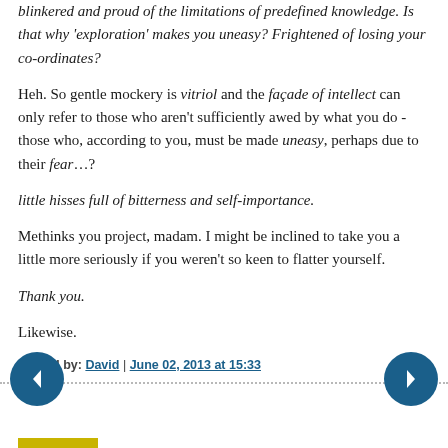blinkered and proud of the limitations of predefined knowledge. Is that why 'exploration' makes you uneasy? Frightened of losing your co-ordinates?
Heh. So gentle mockery is vitriol and the façade of intellect can only refer to those who aren't sufficiently awed by what you do - those who, according to you, must be made uneasy, perhaps due to their fear…?
little hisses full of bitterness and self-importance.
Methinks you project, madam. I might be inclined to take you a little more seriously if you weren't so keen to flatter yourself.
Thank you.
Likewise.
Posted by: David | June 02, 2013 at 15:33